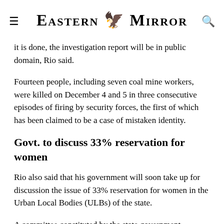Eastern Mirror
it is done, the investigation report will be in public domain, Rio said.
Fourteen people, including seven coal mine workers, were killed on December 4 and 5 in three consecutive episodes of firing by security forces, the first of which has been claimed to be a case of mistaken identity.
Govt. to discuss 33% reservation for women
Rio also said that his government will soon take up for discussion the issue of 33% reservation for women in the Urban Local Bodies (ULBs) of the state.
A committee constituted by the state government